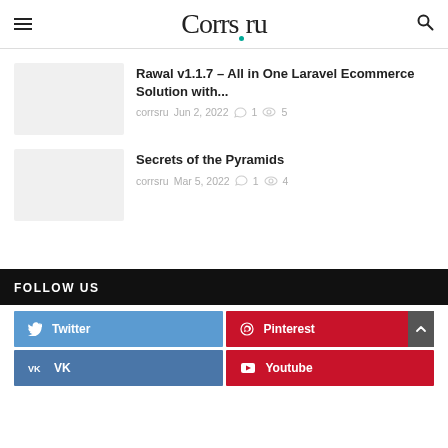Corrs.ru
Rawal v1.1.7 – All in One Laravel Ecommerce Solution with...
corrsru  Jun 2, 2022  💬 1  👁 5
Secrets of the Pyramids
corrsru  Mar 5, 2022  💬 1  👁 4
FOLLOW US
Twitter
Pinterest
VK
Youtube